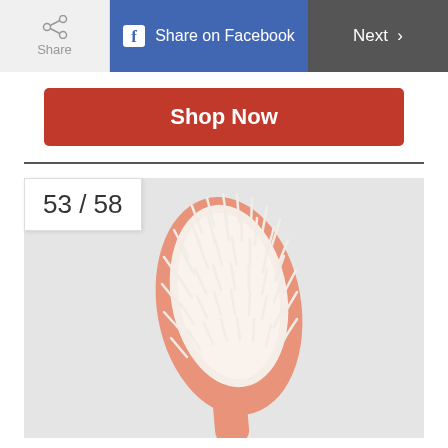Share | Share on Facebook | Next >
Shop Now
[Figure (photo): A pink oval hairbrush with white bristles on a light gray background, showing items 53 of 58]
53 / 58